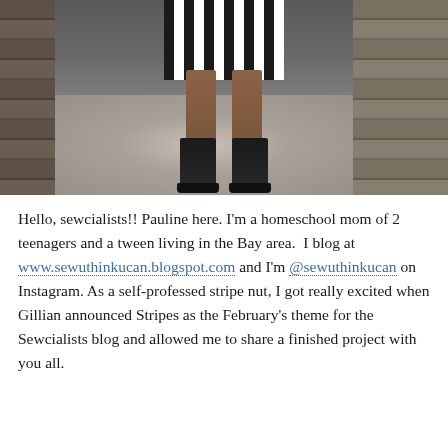[Figure (photo): Photo of a person's lower body wearing a black and white vertical striped skirt or dress, with dark ankle boots, standing on a gravel surface near a wooden wall.]
Hello, sewcialists!! Pauline here. I'm a homeschool mom of 2 teenagers and a tween living in the Bay area.  I blog at www.sewuthinkucan.blogspot.com and I'm @sewuthinkucan on Instagram. As a self-professed stripe nut, I got really excited when Gillian announced Stripes as the February's theme for the Sewcialists blog and allowed me to share a finished project with you all.